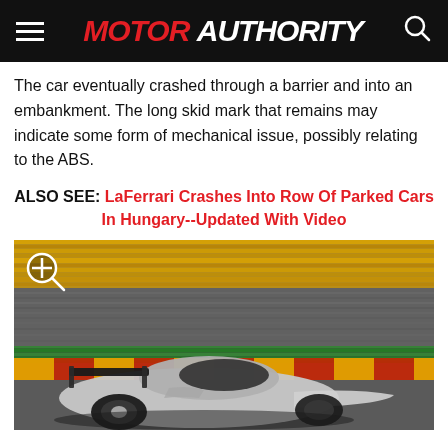MOTOR AUTHORITY
The car eventually crashed through a barrier and into an embankment. The long skid mark that remains may indicate some form of mechanical issue, possibly relating to the ABS.
ALSO SEE: LaFerrari Crashes Into Row Of Parked Cars In Hungary--Updated With Video
[Figure (photo): A silver sports car (LaFerrari or similar) on a race track, motion-blurred background showing yellow and green track barriers, low angle shot from behind/side]